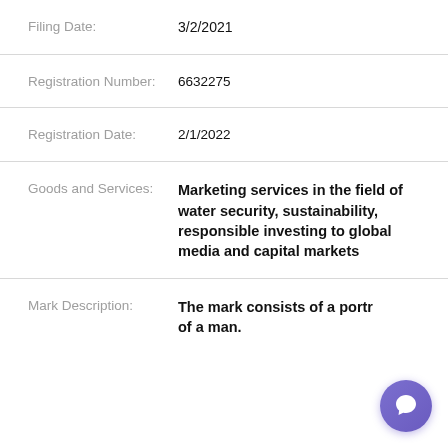| Field | Value |
| --- | --- |
| Filing Date: | 3/2/2021 |
| Registration Number: | 6632275 |
| Registration Date: | 2/1/2022 |
| Goods and Services: | Marketing services in the field of water security, sustainability, responsible investing to global media and capital markets |
| Mark Description: | The mark consists of a portr... of a man. |